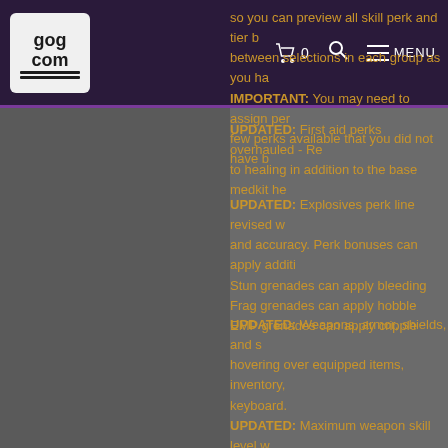GOG.COM header with cart (0), search, and MENU
so you can preview all skill perk and tier b between selections in each group as you ha IMPORTANT: You may need to assign per few perks available that you did not have b
UPDATED: First aid perks overhauled - Re to healing in addition to the base medkit he
UPDATED: Explosives perk line revised w and accuracy. Perk bonuses can apply additi Stun grenades can apply bleeding Frag grenades can apply hobble EMP grenades can apply cripple
UPDATED: Weapons, armor, shields, and s hovering over equipped items, inventory, keyboard. UPDATED: Maximum weapon skill level w UPDATED: The currently selected crew m